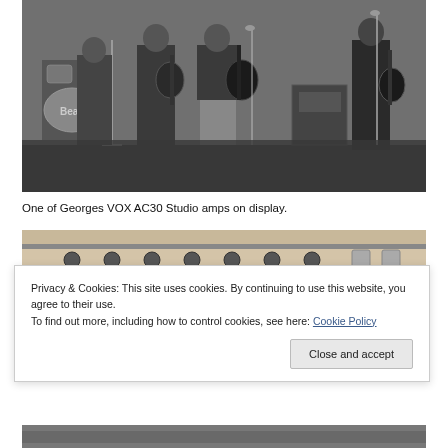[Figure (photo): Black and white photograph of The Beatles performing on stage, with musicians playing guitars and a drum kit visible in the background with 'Bea' (Beatles) logo visible.]
One of Georges VOX AC30 Studio amps on display.
[Figure (photo): Close-up color photograph of a VOX AC30 Studio amplifier control panel showing knobs and controls.]
Privacy & Cookies: This site uses cookies. By continuing to use this website, you agree to their use.
To find out more, including how to control cookies, see here: Cookie Policy
Close and accept